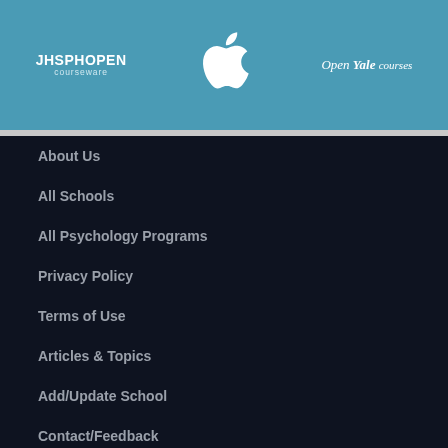[Figure (logo): JHSPHOPEN courseware logo, Apple logo, Open Yale courses logo on teal header bar]
About Us
All Schools
All Psychology Programs
Privacy Policy
Terms of Use
Articles & Topics
Add/Update School
Contact/Feedback
Get Published